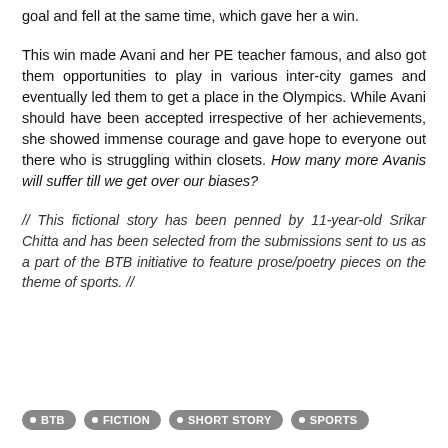goal and fell at the same time, which gave her a win.
This win made Avani and her PE teacher famous, and also got them opportunities to play in various inter-city games and eventually led them to get a place in the Olympics. While Avani should have been accepted irrespective of her achievements, she showed immense courage and gave hope to everyone out there who is struggling within closets. How many more Avanis will suffer till we get over our biases?
// This fictional story has been penned by 11-year-old Srikar Chitta and has been selected from the submissions sent to us as a part of the BTB initiative to feature prose/poetry pieces on the theme of sports. //
BTB
FICTION
SHORT STORY
SPORTS